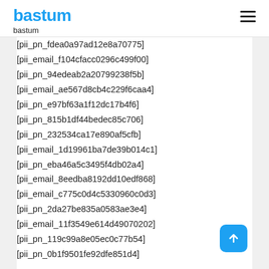bastum
bastum
[pii_pn_fdea0a97ad12e8a70775]
[pii_email_f104cfacc0296c499f00]
[pii_pn_94edeab2a20799238f5b]
[pii_email_ae567d8cb4c229f6caa4]
[pii_pn_e97bf63a1f12dc17b4f6]
[pii_pn_815b1df44bedec85c706]
[pii_pn_232534ca17e890af5cfb]
[pii_email_1d19961ba7de39b014c1]
[pii_pn_eba46a5c3495f4db02a4]
[pii_email_8eedba8192dd10edf868]
[pii_email_c775c0d4c5330960c0d3]
[pii_pn_2da27be835a0583ae3e4]
[pii_email_11f3549e614d49070202]
[pii_pn_119c99a8e05ec0c77b54]
[pii_pn_0b1f9501fe92dfe851d4]